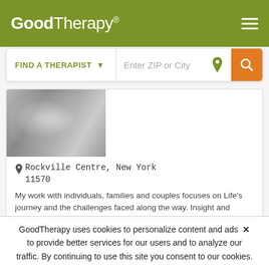GoodTherapy®
FIND A THERAPIST   Enter ZIP or City
[Figure (photo): Partial photo of blurry floral/nature scene, grayscale]
Rockville Centre, New York 11570
My work with individuals, families and couples focuses on Life's journey and the challenges faced along the way. Insight and understanding of one's relationships with self and others helps you
Email Me
516-548-2388
GoodTherapy uses cookies to personalize content and ads to provide better services for our users and to analyze our traffic. By continuing to use this site you consent to our cookies.